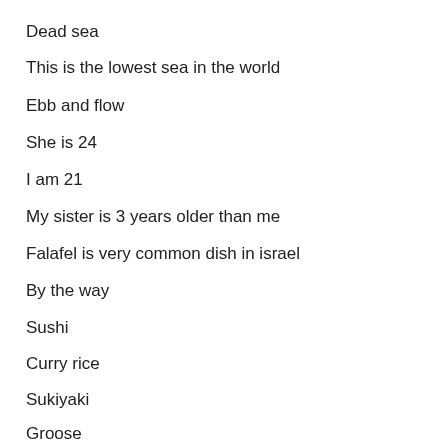Dead sea
This is the lowest sea in the world
Ebb and flow
She is 24
I am 21
My sister is 3 years older than me
Falafel is very common dish in israel
By the way
Sushi
Curry rice
Sukiyaki
Groose